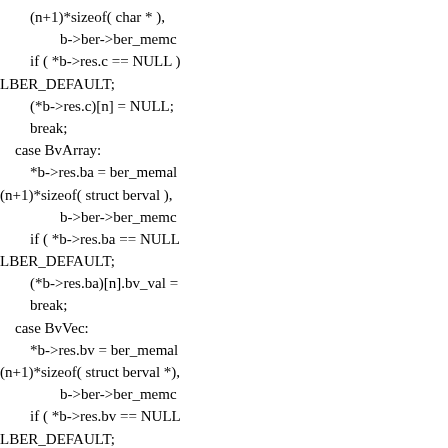(n+1)*sizeof( char * ),
                b->ber->ber_memc
        if ( *b->res.c == NULL )
LBER_DEFAULT;
        (*b->res.c)[n] = NULL;
        break;
    case BvArray:
        *b->res.ba = ber_memal
(n+1)*sizeof( struct berval ),
                b->ber->ber_memc
        if ( *b->res.ba == NULL
LBER_DEFAULT;
        (*b->res.ba)[n].bv_val =
        break;
    case BvVec:
        *b->res.bv = ber_memal
(n+1)*sizeof( struct berval *),
                b->ber->ber_memc
        if ( *b->res.bv == NULL
LBER_DEFAULT;
        (*b->res.bv)[n] = NULL
        break;
    case BvOff:
        *b->res.ba = ber_memal
b->siz, b->ber->ber_memctx );